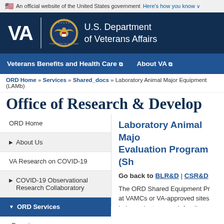An official website of the United States government Here's how you know
[Figure (logo): U.S. Department of Veterans Affairs logo with VA text, seal, and department name]
Veterans Benefits and Health Care | About VA
ORD Home » Services » Shared_docs » Laboratory Animal Major Equipment (LAMb)
Office of Research & Develop
ORD Home
▶ About Us
VA Research on COVID-19
▶ COVID-19 Observational Research Collaboratory
▼ ORD Services
Overview
Laboratory Animal Major Evaluation Program (ShE)
Go back to BLR&D | CSR&D
The ORD Shared Equipment Pr... at VAMCs or VA-approved sites... independent research funding...